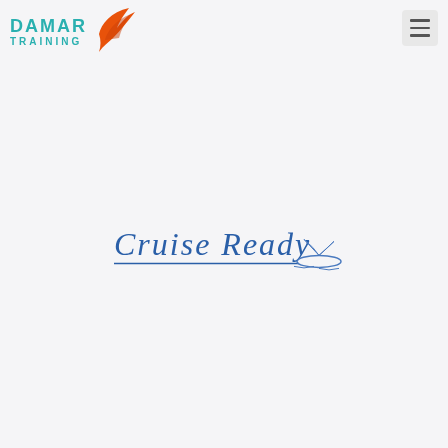[Figure (logo): Damar Training logo with teal text and orange bird/wing icon]
[Figure (logo): Cruise Ready logo in blue serif/italic text with cruise ship illustration and underline]